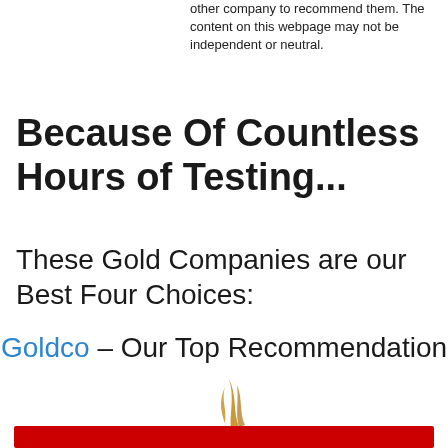other company to recommend them. The content on this webpage may not be independent or neutral.
Because Of Countless Hours of Testing...
These Gold Companies are our Best Four Choices:
Goldco – Our Top Recommendation
[Figure (logo): Goldco logo with golden flame/feather icon above the text GOLDCO in large serif letters with registered trademark symbol]